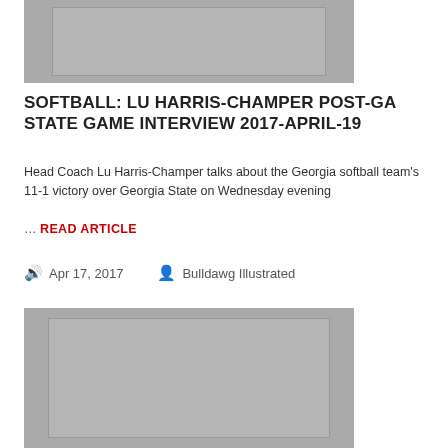[Figure (photo): Gray placeholder image at top of article]
SOFTBALL: LU HARRIS-CHAMPER POST-GA STATE GAME INTERVIEW 2017-APRIL-19
Head Coach Lu Harris-Champer talks about the Georgia softball team's 11-1 victory over Georgia State on Wednesday evening
… READ ARTICLE
Apr 17, 2017   Bulldawg Illustrated
[Figure (photo): Gray placeholder image at bottom of article]